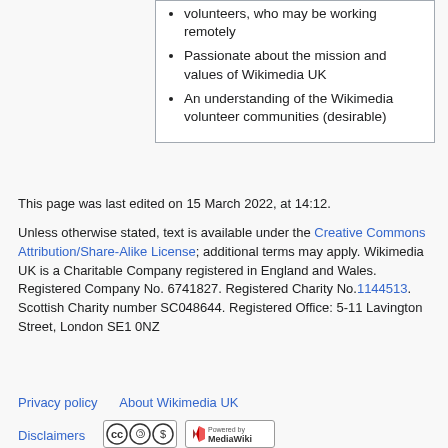volunteers, who may be working remotely
Passionate about the mission and values of Wikimedia UK
An understanding of the Wikimedia volunteer communities (desirable)
This page was last edited on 15 March 2022, at 14:12.
Unless otherwise stated, text is available under the Creative Commons Attribution/Share-Alike License; additional terms may apply. Wikimedia UK is a Charitable Company registered in England and Wales.
Registered Company No. 6741827. Registered Charity No.1144513. Scottish Charity number SC048644. Registered Office: 5-11 Lavington Street, London SE1 0NZ
Privacy policy   About Wikimedia UK
Disclaimers